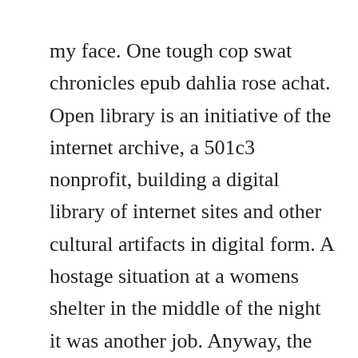my face. One tough cop swat chronicles epub dahlia rose achat. Open library is an initiative of the internet archive, a 501c3 nonprofit, building a digital library of internet sites and other cultural artifacts in digital form. A hostage situation at a womens shelter in the middle of the night it was another job. Anyway, the thread title, mueller under oath, scans perfectly to slot into the doors riders on the storm.
Maxwell kincaid had worked in the nypd long enough that most things didnt surprise him